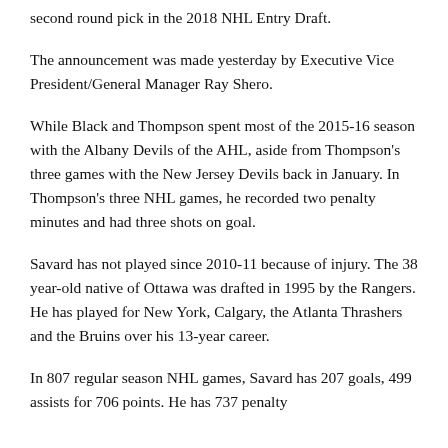second round pick in the 2018 NHL Entry Draft.
The announcement was made yesterday by Executive Vice President/General Manager Ray Shero.
While Black and Thompson spent most of the 2015-16 season with the Albany Devils of the AHL, aside from Thompson's three games with the New Jersey Devils back in January. In Thompson's three NHL games, he recorded two penalty minutes and had three shots on goal.
Savard has not played since 2010-11 because of injury. The 38 year-old native of Ottawa was drafted in 1995 by the Rangers. He has played for New York, Calgary, the Atlanta Thrashers and the Bruins over his 13-year career.
In 807 regular season NHL games, Savard has 207 goals, 499 assists for 706 points. He has 737 penalty